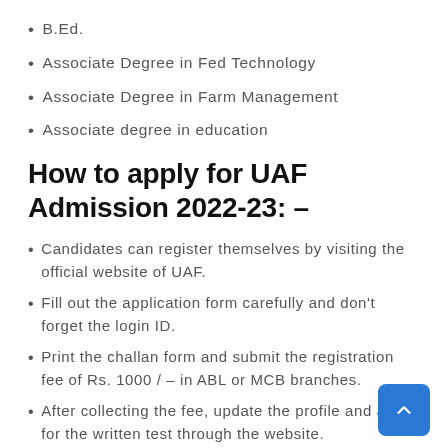B.Ed.
Associate Degree in Fed Technology
Associate Degree in Farm Management
Associate degree in education
How to apply for UAF Admission 2022-23: –
Candidates can register themselves by visiting the official website of UAF.
Fill out the application form carefully and don't forget the login ID.
Print the challan form and submit the registration fee of Rs. 1000 / – in ABL or MCB branches.
After collecting the fee, update the profile and apply for the written test through the website.
Scanned copies of all relevant documents are